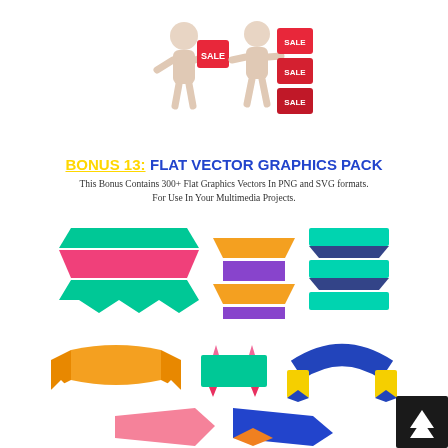[Figure (illustration): Two 3D white humanoid figures holding red 'SALE' boxes/cubes]
BONUS 13: FLAT VECTOR GRAPHICS PACK
This Bonus Contains 300+ Flat Graphics Vectors In PNG and SVG formats. For Use In Your Multimedia Projects.
[Figure (illustration): Flat vector ribbon/banner graphics pack examples - colorful zigzag ribbons in green/pink, orange/purple, and teal/dark blue; arch/scroll banners in orange, teal/pink, and blue/yellow; and partial pink and blue/orange ribbons at bottom]
[Figure (logo): Small dark square with white arrow icon (scroll-to-top button) in bottom right corner]